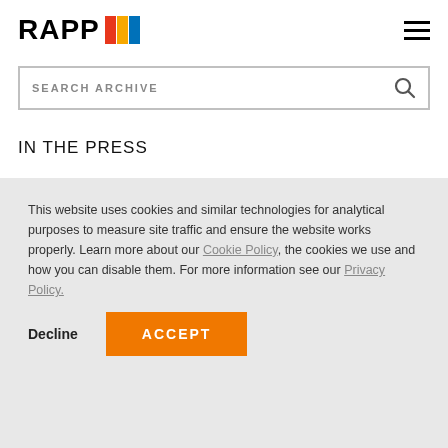RAPP
SEARCH ARCHIVE
IN THE PRESS
This website uses cookies and similar technologies for analytical purposes to measure site traffic and ensure the website works properly. Learn more about our Cookie Policy, the cookies we use and how you can disable them. For more information see our Privacy Policy.
Decline | ACCEPT